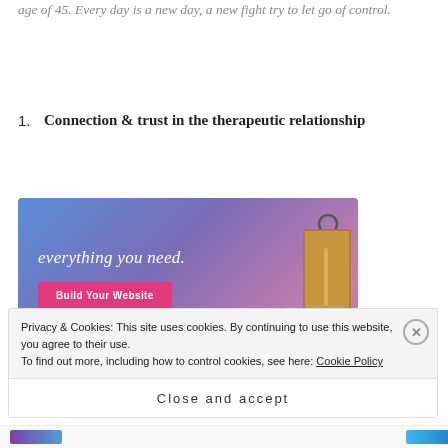age of 45. Every day is a new day, a new fight try to let go of control.
1. Connection & trust in the therapeutic relationship
[Figure (infographic): Advertisement banner with blue-to-purple gradient background, text 'everything you need.' in white italic font, a pink 'Build Your Website' button, and a decorative price tag illustration on the right.]
Privacy & Cookies: This site uses cookies. By continuing to use this website, you agree to their use.
To find out more, including how to control cookies, see here: Cookie Policy
Close and accept